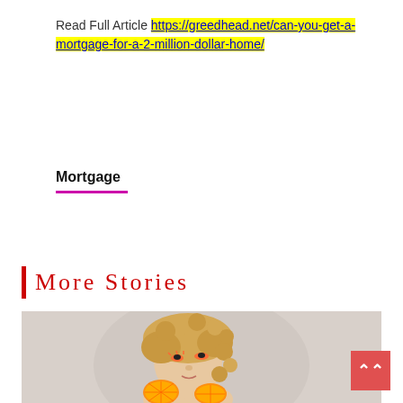Read Full Article https://greedhead.net/can-you-get-a-mortgage-for-a-2-million-dollar-home/
Mortgage
More Stories
[Figure (photo): Woman with curly blonde updo hairstyle and orange eye makeup, holding orange slices, photographed against a light grey background]